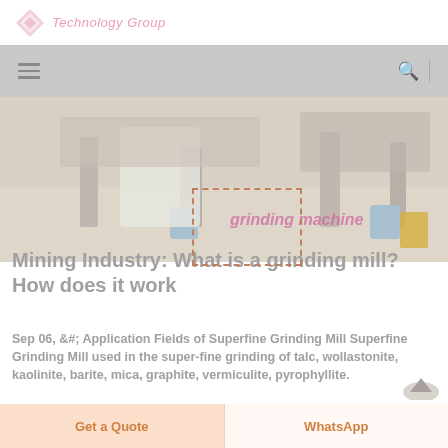Technology Group
[Figure (screenshot): Navigation bar with hamburger menu icon on left and search icon with divider on right, grey background]
[Figure (photo): Industrial grinding mill machinery on factory floor, light washed-out photo with pink/purple text overlay]
Mining Industry: What is a grinding mill? How does it work
Sep 06, &#; Application Fields of Superfine Grinding Mill Superfine Grinding Mill used in the super-fine grinding of talc, wollastonite, kaolinite, barite, mica, graphite, vermiculite, pyrophyllite.
Get a Quote   WhatsApp